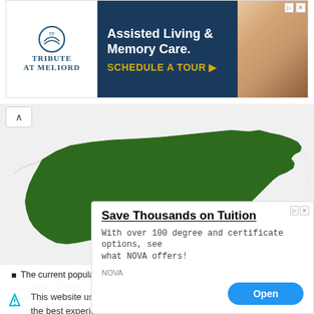[Figure (other): Tribute at Melrod assisted living advertisement banner with logo, blue background text 'Assisted Living & Memory Care. SCHEDULE A TOUR ▶' and elderly person photo]
[Figure (map): Green silhouette map of El Salvador on light gray background]
The current population of El Salvador is 6,555,546 as of Wednesday, August 17, 2022, based on Worldometer elaboration of the latest United Nations data.
El Salvador population 2060 census: it ... 6,486,205
This website uses cookies to ensure you get the best experience on our website. Learn more
[Figure (other): NOVA advertisement overlay: 'Save Thousands on Tuition' with text 'With over 100 degree and certificate options, see what NOVA offers!' and Open button]